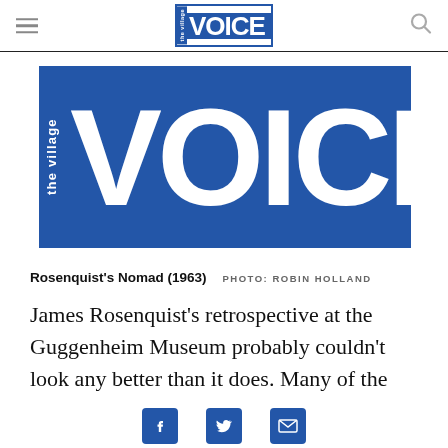the village VOICE [navigation bar with hamburger menu and search icon]
[Figure (logo): The Village Voice logo — large blue rectangle with 'the village' in small vertical white text on left side and 'VOICE' in large bold white letters]
Rosenquist's Nomad (1963)   PHOTO: ROBIN HOLLAND
James Rosenquist's retrospective at the Guggenheim Museum probably couldn't look any better than it does. Many of the artist's touchstone
Social share icons: Facebook, Twitter, Email